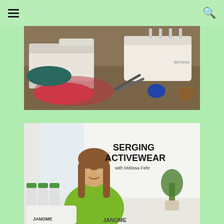Navigation bar with hamburger menu and search icon
[Figure (photo): Photo of sewing machines on a table with fabric, scissors, and sewing supplies including a blue pincushion and pink/red fabric]
[Figure (photo): Book cover or promotional image for 'Serging Activewear with Melissa Fehr' showing a woman in a green top with serger and thread spools, Janome branding at bottom]